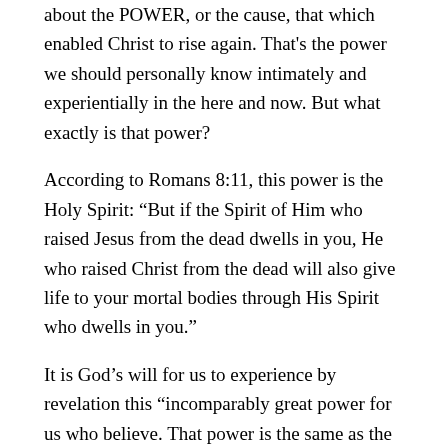about the POWER, or the cause, that which enabled Christ to rise again. That's the power we should personally know intimately and experientially in the here and now. But what exactly is that power?
According to Romans 8:11, this power is the Holy Spirit: “But if the Spirit of Him who raised Jesus from the dead dwells in you, He who raised Christ from the dead will also give life to your mortal bodies through His Spirit who dwells in you.”
It is God’s will for us to experience by revelation this “incomparably great power for us who believe. That power is the same as the mighty strength He exerted when He raised Christ from the dead and seated Him at His right hand in the heavenly realms “(Ep 1:19-20). It is the the power of the